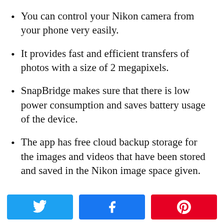You can control your Nikon camera from your phone very easily.
It provides fast and efficient transfers of photos with a size of 2 megapixels.
SnapBridge makes sure that there is low power consumption and saves battery usage of the device.
The app has free cloud backup storage for the images and videos that have been stored and saved in the Nikon image space given.